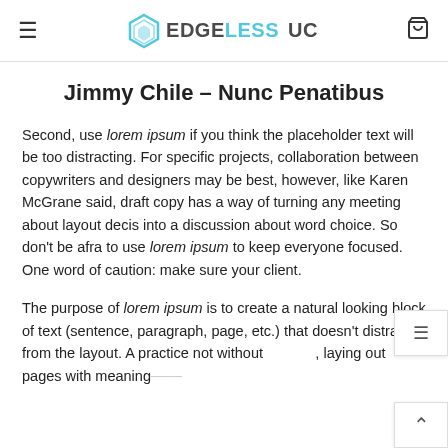EDGELESS UC
Jimmy Chile – Nunc Penatibus
Second, use lorem ipsum if you think the placeholder text will be too distracting. For specific projects, collaboration between copywriters and designers may be best, however, like Karen McGrane said, draft copy has a way of turning any meeting about layout decis into a discussion about word choice. So don't be afra to use lorem ipsum to keep everyone focused. One word of caution: make sure your client.
The purpose of lorem ipsum is to create a natural looking block of text (sentence, paragraph, page, etc.) that doesn't distract from the layout. A practice not without , laying out pages with meaningless